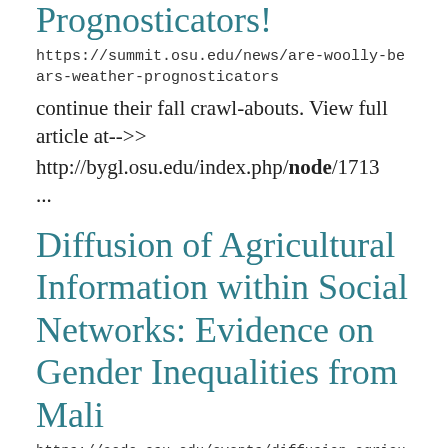Prognosticators!
https://summit.osu.edu/news/are-woolly-bears-weather-prognosticators
continue their fall crawl-abouts. View full article at-->>
http://bygl.osu.edu/index.php/node/1713
...
Diffusion of Agricultural Information within Social Networks: Evidence on Gender Inequalities from Mali
https://aede.osu.edu/events/diffusion-agricultural-information-within-social-networks-evidence-gender-inequalities-mali
central nodes in a network. After